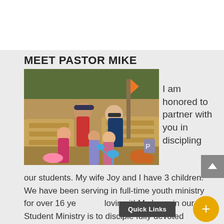MEET PASTOR MIKE
[Figure (photo): Family photo of Pastor Mike with wife Joy and 3 children outdoors at what appears to be a fall festival setting with hay bales and pumpkins.]
I am honored to partner with you in discipling our students. My wife Joy and I have 3 children. We have been serving in full-time youth ministry for over 16 ye... loving it! My hope in our Student Ministry is to disciple fully devoted followers of Jesus.